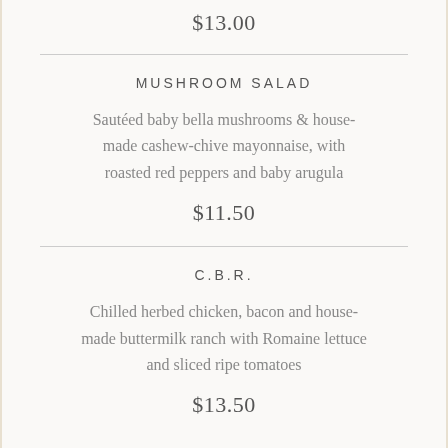$13.00
MUSHROOM SALAD
Sautéed baby bella mushrooms & house-made cashew-chive mayonnaise, with roasted red peppers and baby arugula
$11.50
C.B.R.
Chilled herbed chicken, bacon and house-made buttermilk ranch with Romaine lettuce and sliced ripe tomatoes
$13.50